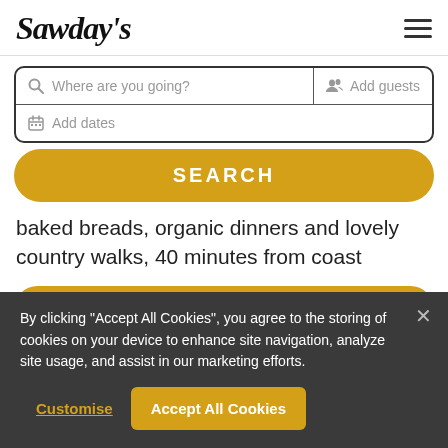Sawday's
Where are you going? | Add guests | Add dates
SEARCH
baked breads, organic dinners and lovely country walks, 40 minutes from coast
ENQUIRE NOW
By clicking "Accept All Cookies", you agree to the storing of cookies on your device to enhance site navigation, analyze site usage, and assist in our marketing efforts.
Customise
Accept All Cookies